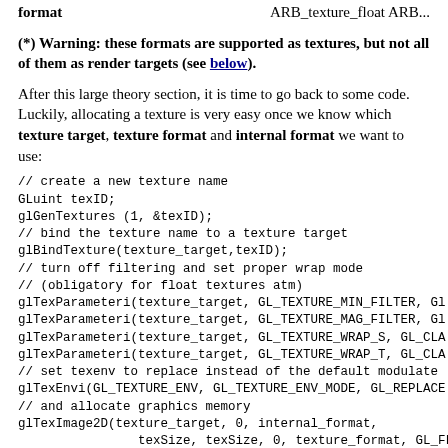format    ARB_texture_float ARB...
(*) Warning: these formats are supported as textures, but not all of them as render targets (see below).
After this large theory section, it is time to go back to some code. Luckily, allocating a texture is very easy once we know which texture target, texture format and internal format we want to use:
Let us digest this last OpenGL call one parameter at a time: We already know what texture_target should be. The next parameter...